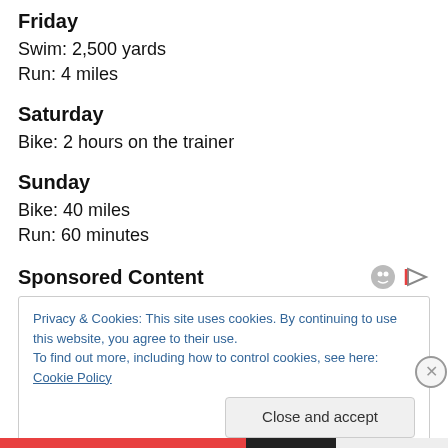Friday
Swim: 2,500 yards
Run: 4 miles
Saturday
Bike: 2 hours on the trainer
Sunday
Bike: 40 miles
Run: 60 minutes
Sponsored Content
Privacy & Cookies: This site uses cookies. By continuing to use this website, you agree to their use.
To find out more, including how to control cookies, see here: Cookie Policy
Close and accept